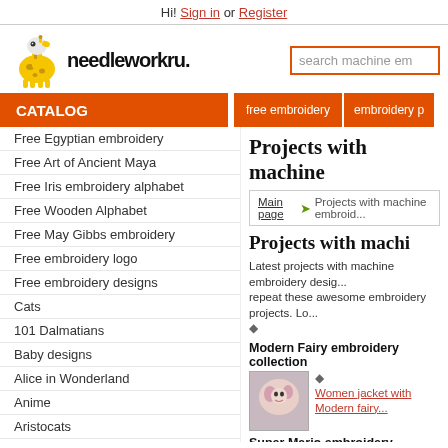Hi! Sign in or Register
[Figure (logo): Needleworkru giraffe logo with stylized text]
search machine em...
CATALOG
free embroidery | embroidery p...
Free Egyptian embroidery
Free Art of Ancient Maya
Free Iris embroidery alphabet
Free Wooden Alphabet
Free May Gibbs embroidery
Free embroidery logo
Free embroidery designs
Cats
101 Dalmatians
Baby designs
Alice in Wonderland
Anime
Aristocats
Asterix and Obelix
Backyardigans
Babynosh
Projects with machine...
Main page ➔ Projects with machine embroid...
Projects with machi...
Latest projects with machine embroidery desig... repeat these awesome embroidery projects. Lo... ◆
Modern Fairy embroidery collection
◆ Women jacket with Modern fairy...
Super Mario embroidery collection
◆ Embroidered outfit with Super Ma...